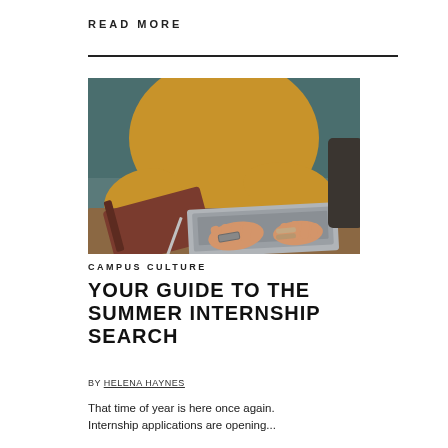READ MORE
[Figure (photo): Person wearing a mustard/golden yellow sweater typing on a laptop, with a book/notebook visible on a wooden desk. Close-up shot from above showing the hands and torso.]
CAMPUS CULTURE
YOUR GUIDE TO THE SUMMER INTERNSHIP SEARCH
BY HELENA HAYNES
That time of year is here once again. Internship applications are opening...